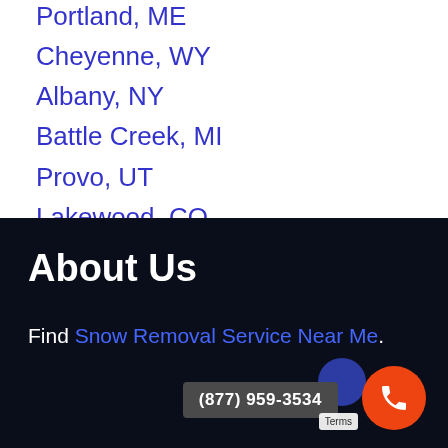Portland, ME
Cheyenne, WY
Albany, NY
Battle Creek, MI
Provo, UT
Lakewood, CO
Minneapolis, MN
About Us
Find Snow Removal Service Near Me.
(877) 959-3534